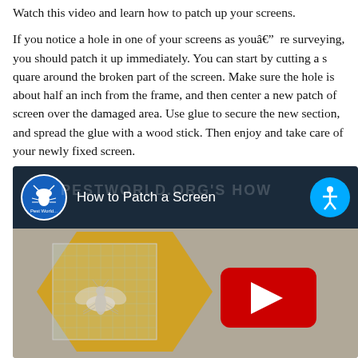Watch this video and learn how to patch up your screens.
If you notice a hole in one of your screens as youâre surveying, you should patch it up immediately. You can start by cutting a square around the broken part of the screen. Make sure the hole is about half an inch from the frame, and then center a new patch of screen over the damaged area. Use glue to secure the new section, and spread the glue with a wood stick. Then enjoy and take care of your newly fixed screen.
[Figure (screenshot): Embedded YouTube video thumbnail showing 'How to Patch a Screen' by Pest World. The video header shows a Pest World logo on the left, the title 'How to Patch a Screen' in white text, and an accessibility icon on the right. The thumbnail shows a yellow hexagonal shape with a screen patch and a fly silhouette, plus a YouTube play button.]